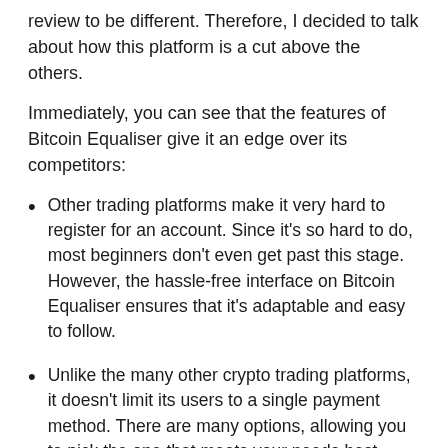review to be different. Therefore, I decided to talk about how this platform is a cut above the others.
Immediately, you can see that the features of Bitcoin Equaliser give it an edge over its competitors:
Other trading platforms make it very hard to register for an account. Since it's so hard to do, most beginners don't even get past this stage. However, the hassle-free interface on Bitcoin Equaliser ensures that it's adaptable and easy to follow.
Unlike the many other crypto trading platforms, it doesn't limit its users to a single payment method. There are many options, allowing you to pick the one that meets your needs best.
Other legitimate competitors offer Bitcoin trading and other cryptocurrencies. However, they have slow and strict transactional processes. Bitcoin Equaliser doesn't create a fuss about anything, so you can withdraw your money in about 24 hours or less. However, banking institutions have rules, too.